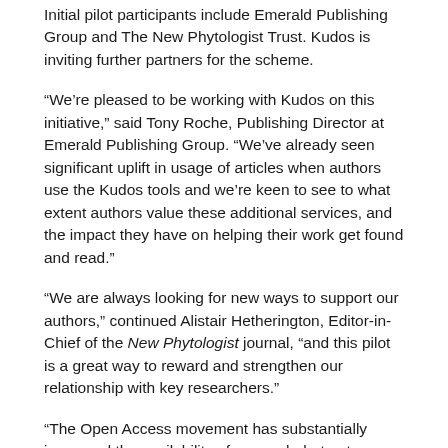Initial pilot participants include Emerald Publishing Group and The New Phytologist Trust. Kudos is inviting further partners for the scheme.
“We’re pleased to be working with Kudos on this initiative,” said Tony Roche, Publishing Director at Emerald Publishing Group. “We’ve already seen significant uplift in usage of articles when authors use the Kudos tools and we’re keen to see to what extent authors value these additional services, and the impact they have on helping their work get found and read.”
“We are always looking for new ways to support our authors,” continued Alistair Hetherington, Editor-in-Chief of the New Phytologist journal, “and this pilot is a great way to reward and strengthen our relationship with key researchers.”
“The Open Access movement has substantially increased the availability of research, but not necessarily its accessibility in the sense of being understandable to non-specialists,” commented